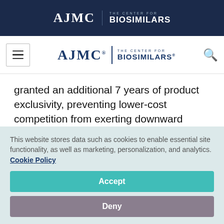AJMC | THE CENTER FOR BIOSIMILARS
[Figure (logo): AJMC The Center for Biosimilars navigation logo with hamburger menu and search icon]
granted an additional 7 years of product exclusivity, preventing lower-cost competition from exerting downward pressure on pricing.
“This puts a strain on patients and families
This website stores data such as cookies to enable essential site functionality, as well as marketing, personalization, and analytics. Cookie Policy
Accept
Deny